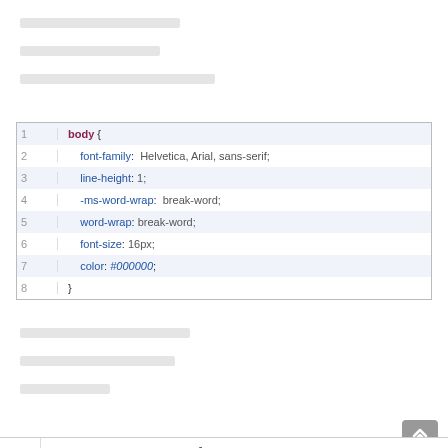[placeholder text line 1]
[placeholder text line 2]
[placeholder text line 3]
[Figure (screenshot): Code block showing CSS for body tag with font-family: Helvetica, Arial, sans-serif; line-height: 1; -ms-word-wrap: break-word; word-wrap: break-word; font-size: 16px; color: #000000;]
[placeholder text line 4]
[placeholder text line 5]
[placeholder text line 6]
[Figure (screenshot): Partial code block starting with #st_content_wrapper {]